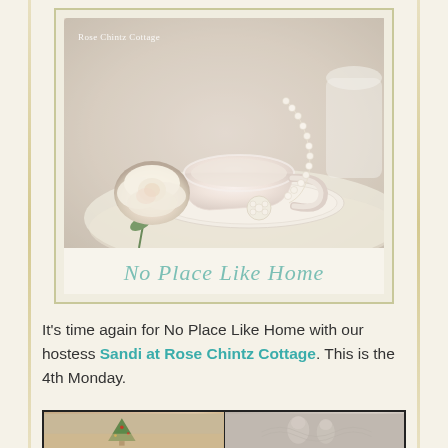[Figure (photo): A decorative framed image showing a cream-colored teacup and saucer with pearl necklace draped over it, a white rose beside it on lace, with text 'No Place Like Home' in teal below the photo. Watermark reads 'Rose Chintz Cottage'.]
It's time again for No Place Like Home with our hostess Sandi at Rose Chintz Cottage. This is the 4th Monday.
[Figure (photo): Two side-by-side photos at bottom of page, partially cropped. Left image shows a small Christmas tree decoration; right image shows decorative figures or ornaments.]